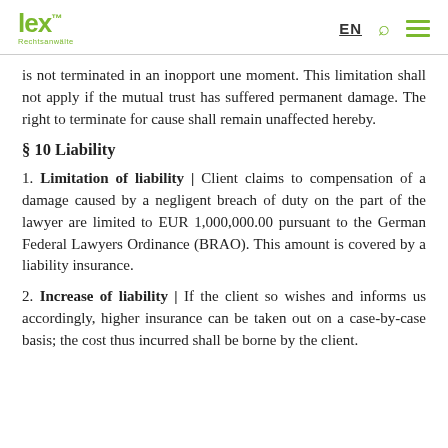lex™ Rechtsanwälte | EN
is not terminated in an inopportune moment. This limitation shall not apply if the mutual trust has suffered permanent damage. The right to terminate for cause shall remain unaffected hereby.
§ 10 Liability
1. Limitation of liability | Client claims to compensation of a damage caused by a negligent breach of duty on the part of the lawyer are limited to EUR 1,000,000.00 pursuant to the German Federal Lawyers Ordinance (BRAO). This amount is covered by a liability insurance.
2. Increase of liability | If the client so wishes and informs us accordingly, higher insurance can be taken out on a case-by-case basis; the cost thus incurred shall be borne by the client.